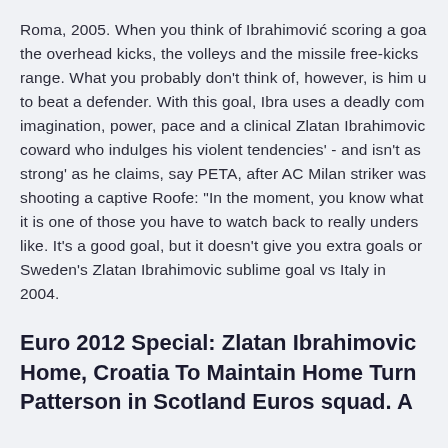Roma, 2005. When you think of Ibrahimović scoring a goa the overhead kicks, the volleys and the missile free-kicks range. What you probably don't think of, however, is him u to beat a defender. With this goal, Ibra uses a deadly com imagination, power, pace and a clinical Zlatan Ibrahimovic coward who indulges his violent tendencies' - and isn't as strong' as he claims, say PETA, after AC Milan striker was shooting a captive Roofe: "In the moment, you know what it is one of those you have to watch back to really unders like. It's a good goal, but it doesn't give you extra goals or Sweden's Zlatan Ibrahimovic sublime goal vs Italy in 2004.
Euro 2012 Special: Zlatan Ibrahimovic Home, Croatia To Maintain Home Tur Patterson in Scotland Euros squad. A